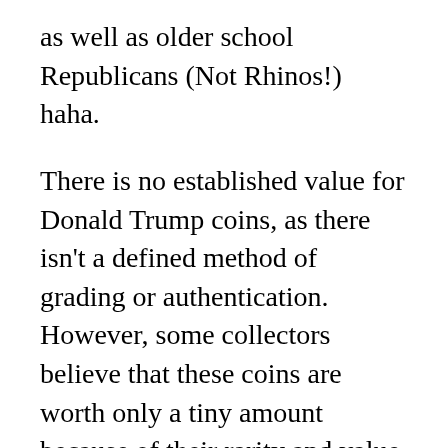as well as older school Republicans (Not Rhinos!) haha.
There is no established value for Donald Trump coins, as there isn't a defined method of grading or authentication. However, some collectors believe that these coins are worth only a tiny amount because of their rarity and value. There's no official endorsement from Trump or his administration or his team, and there's no evidence that any amount of money that is spent on these coins will result in any advantage in the purchase of products or services offered by Trump-owned businesses. Is it worth spending money on the chance to have a brass coin that will eventually end up